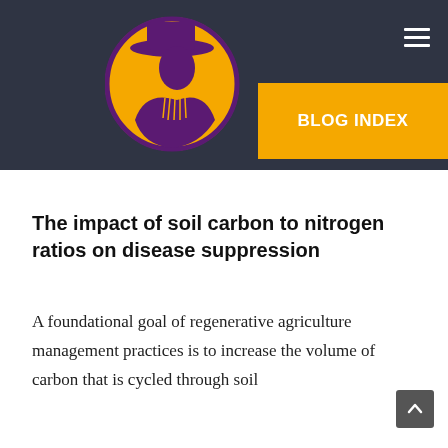[Figure (logo): Circular logo with orange background featuring a purple silhouette of a historical figure wearing a wide-brimmed hat, on a dark navy header bar with hamburger menu icon and a gold 'BLOG INDEX' button]
The impact of soil carbon to nitrogen ratios on disease suppression
A foundational goal of regenerative agriculture management practices is to increase the volume of carbon that is cycled through soil